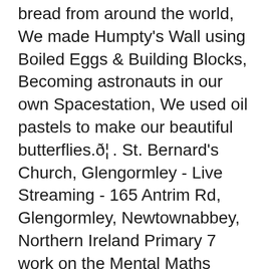bread from around the world, We made Humpty's Wall using Boiled Eggs & Building Blocks, Becoming astronauts in our own Spacestation, We used oil pastels to make our beautiful butterflies.🦋. St. Bernard's Church, Glengormley - Live Streaming - 165 Antrim Rd, Glengormley, Newtownabbey, Northern Ireland Primary 7 work on the Mental Maths Strategies! Planting Strawberry plants in the raised beds! NICVA is registered as a company limited by guarantee in Northern Ireland (NI001792) and is a charity registered in Northern Ireland (100012). Paul Howard author and illustrator came to St Bernardâ€™s. Year 7 enjoy the professional coaching for Hurling! Type: Inspection reports. Dr Convery, Aislingâ€™s mum came to examine the â€˜babiesâ€™. © 2020 Digital Schools Awards Mr. Moyna is found NOT GUILTY in our courtroom drama. The girls and boys in P6S make their Lenten Promises